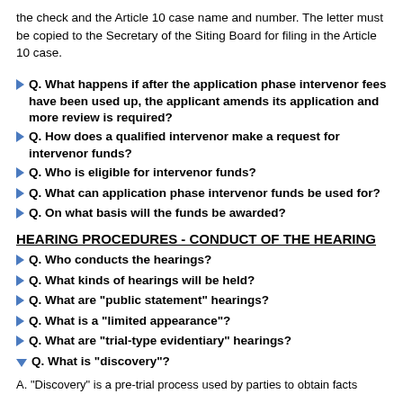the check and the Article 10 case name and number. The letter must be copied to the Secretary of the Siting Board for filing in the Article 10 case.
Q. What happens if after the application phase intervenor fees have been used up, the applicant amends its application and more review is required?
Q. How does a qualified intervenor make a request for intervenor funds?
Q. Who is eligible for intervenor funds?
Q. What can application phase intervenor funds be used for?
Q. On what basis will the funds be awarded?
HEARING PROCEDURES - CONDUCT OF THE HEARING
Q. Who conducts the hearings?
Q. What kinds of hearings will be held?
Q. What are "public statement" hearings?
Q. What is a "limited appearance"?
Q. What are "trial-type evidentiary" hearings?
Q. What is "discovery"?
A. "Discovery" is a pre-trial process used by parties to obtain facts